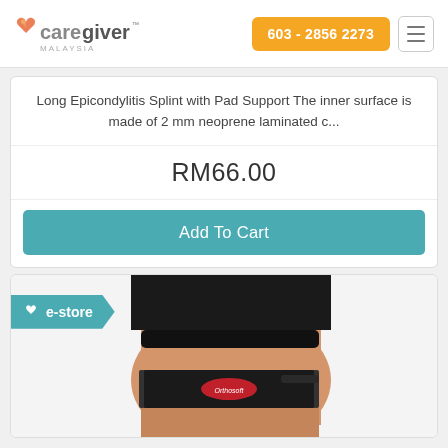[Figure (logo): Caregiver Malaysia logo with orange/red heart icon and stylized text]
603 - 2856 2273
Long Epicondylitis Splint with Pad Support The inner surface is made of 2 mm neoprene laminated c...
RM66.00
Add To Cart
[Figure (photo): Product photo of a knee/thigh support brace (Orthosoft brand) worn on a person's leg, with e-store badge overlay]